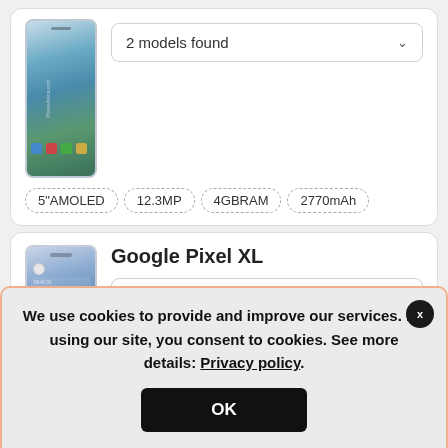[Figure (screenshot): Partial top card showing a Google Pixel phone image with dropdown '2 models found' and spec badges: 5" AMOLED, 12.3MP, 4GB RAM, 2770mAh]
2 models found
5"AMOLED  12.3MP  4GBRAM  2770mAh
[Figure (screenshot): Google Pixel XL card with phone image and dropdown '2 models found']
Google Pixel XL
2 models found
We use cookies to provide and improve our services. By using our site, you consent to cookies. See more details: Privacy policy.
OK